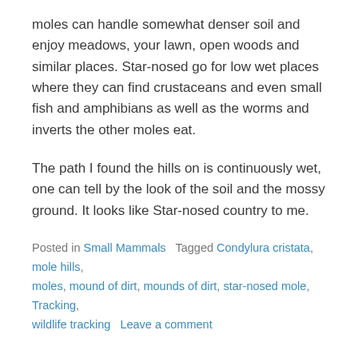moles can handle somewhat denser soil and enjoy meadows, your lawn, open woods and similar places. Star-nosed go for low wet places where they can find crustaceans and even small fish and amphibians as well as the worms and inverts the other moles eat.
The path I found the hills on is continuously wet, one can tell by the look of the soil and the mossy ground. It looks like Star-nosed country to me.
Posted in Small Mammals   Tagged Condylura cristata, mole hills, moles, mound of dirt, mounds of dirt, star-nosed mole, Tracking, wildlife tracking   Leave a comment
White Memorial Conservation Centers